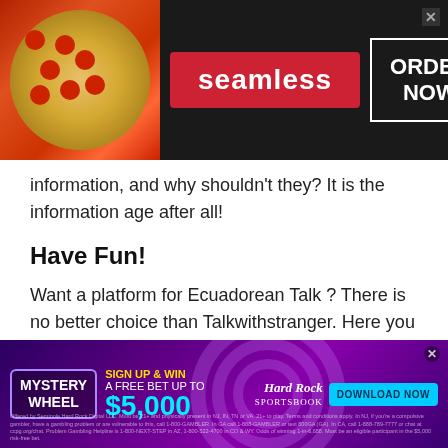[Figure (other): Seamless food delivery advertisement banner with pizza image, red Seamless logo, and ORDER NOW button in white border box on dark background]
information, and why shouldn't they? It is the information age after all!
Have Fun!
Want a platform for Ecuadorean Talk ? There is no better choice than Talkwithstranger. Here you can get in touch with people not just from your local area, but also from other regions of the world.
This means you can make new connections, get in touch
[Figure (other): Hard Rock Sportsbook advertisement with Mystery Wheel promotion offering free bet up to $5,000 with SIGN UP & WIN text and DOWNLOAD NOW button on purple background]